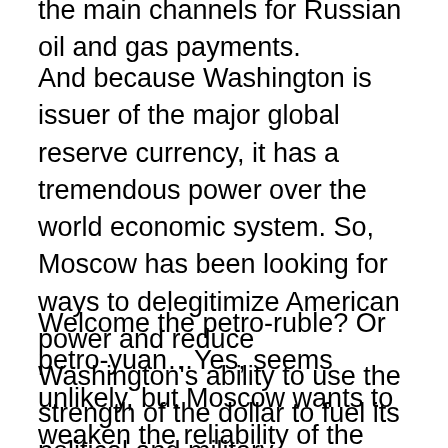the main channels for Russian oil and gas payments.
And because Washington is issuer of the major global reserve currency, it has a tremendous power over the world economic system. So, Moscow has been looking for ways to delegitimize American power and reduce Washington's ability to use the strength of the dollar to fuel its political and military aspirations.
Welcome the petro-ruble? Or petro-yuan…Yes, seems unlikely, but Moscow wants to weaken the reliability of the dollar, thereby making oil transactions in the ruble seem easier and less risky. Moscow can try and leverage its power as one of the world's largest gas exporters by building an economic strategy to squeeze U.S power out of their areas of control, mainly Eurasia, by weakening the value of the dollar. One way Putin can threaten the power of the dollar is if he convinces Saudi Arabia t...